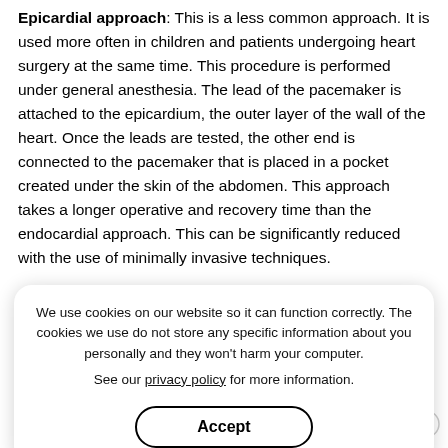Epicardial approach: This is a less common approach. It is used more often in children and patients undergoing heart surgery at the same time. This procedure is performed under general anesthesia. The lead of the pacemaker is attached to the epicardium, the outer layer of the wall of the heart. Once the leads are tested, the other end is connected to the pacemaker that is placed in a pocket created under the skin of the abdomen. This approach takes a longer operative and recovery time than the endocardial approach. This can be significantly reduced with the use of minimally invasive techniques.
Irrespective of the approach, the final adjustments of the pacemaker are made by the doctor after the pacemaker implantation by using an external device. The settings of the pacemaker depend on the individual requirement of electrical energy to stimulate normal heart rhythm.
We use cookies on our website so it can function correctly. The cookies we use do not store any specific information about you personally and they won't harm your computer. See our privacy policy for more information.